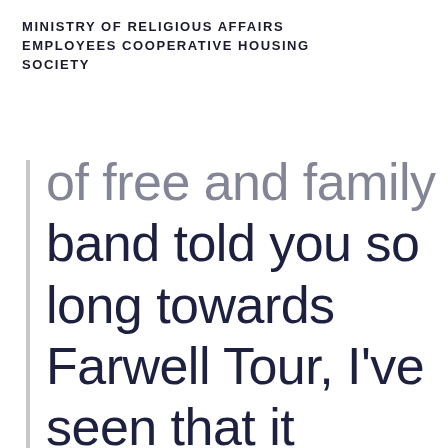MINISTRY OF RELIGIOUS AFFAIRS EMPLOYEES COOPERATIVE HOUSING SOCIETY
…of free and family from band told you so long towards Farwell Tour, I've seen that it incarnation of one's band a few times and they have wear…